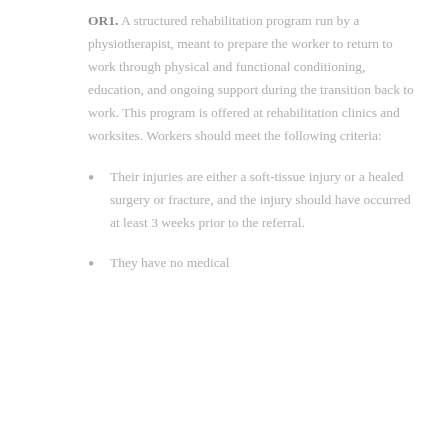OR1. A structured rehabilitation program run by a physiotherapist, meant to prepare the worker to return to work through physical and functional conditioning, education, and ongoing support during the transition back to work. This program is offered at rehabilitation clinics and worksites. Workers should meet the following criteria:
Their injuries are either a soft-tissue injury or a healed surgery or fracture, and the injury should have occurred at least 3 weeks prior to the referral.
They have no medical